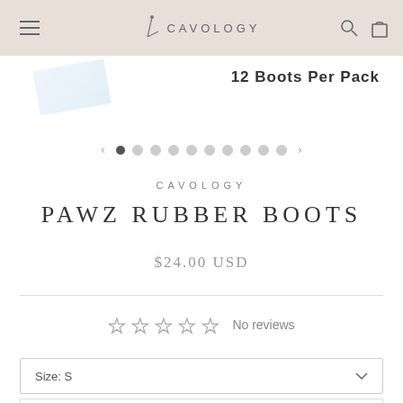CAVOLOGY
12 Boots Per Pack
[Figure (illustration): Product image carousel navigation dots with left and right arrows, showing 10 dots with first dot active]
CAVOLOGY
PAWZ RUBBER BOOTS
$24.00 USD
No reviews
Size: S